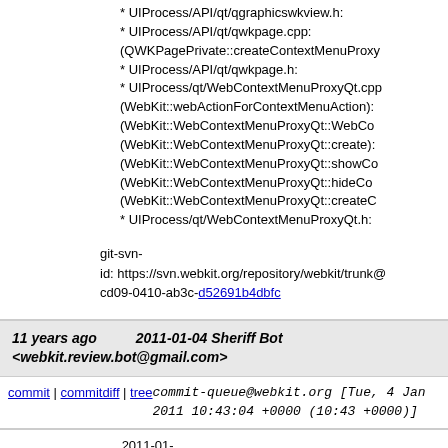* UIProcess/API/qt/qgraphicswkview.h:
* UIProcess/API/qt/qwkpage.cpp:
(QWKPagePrivate::createContextMenuProxy):
* UIProcess/API/qt/qwkpage.h:
* UIProcess/qt/WebContextMenuProxyQt.cpp:
(WebKit::webActionForContextMenuAction):
(WebKit::WebContextMenuProxyQt::WebCo...):
(WebKit::WebContextMenuProxyQt::create):
(WebKit::WebContextMenuProxyQt::showCo...):
(WebKit::WebContextMenuProxyQt::hideCo...):
(WebKit::WebContextMenuProxyQt::createC...):
* UIProcess/qt/WebContextMenuProxyQt.h:
git-svn-id: https://svn.webkit.org/repository/webkit/trunk@cd09-0410-ab3c-d52691b4dbfc
11 years ago   2011-01-04 Sheriff Bot <webkit.review.bot@gmail.com>
commit | commitdiff | tree   commit-queue@webkit.org [Tue, 4 Jan 2011 10:43:04 +0000 (10:43 +0000)]
2011-01-04  Sheriff Bot  <webkit.review.bot@gmail.com>

Unreviewed, rolling out r74960.
http://trac.webkit.org/changeset/74960
https://bugs.webkit.org/show_bug.cgi?id=51868